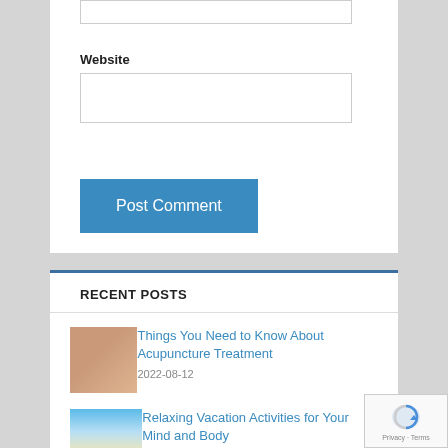[Figure (screenshot): Empty text input box (top, partially visible)]
Website
[Figure (screenshot): Empty text input box for Website field]
Post Comment
RECENT POSTS
[Figure (photo): Photo of acupuncture treatment being administered on a person's back]
Things You Need to Know About Acupuncture Treatment
2022-08-12
[Figure (photo): Photo of a relaxing vacation scene with sky and water]
Relaxing Vacation Activities for Your Mind and Body